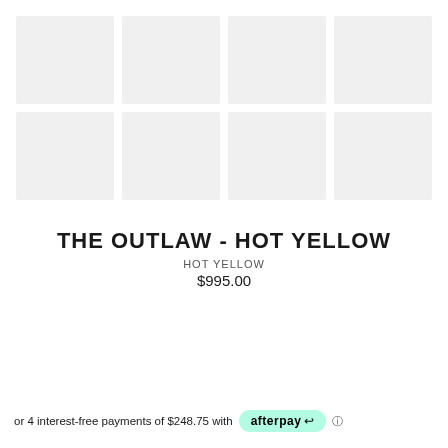[Figure (photo): Grid of 8 placeholder product images arranged in 2 rows of 4 columns, showing light gray rectangles]
THE OUTLAW - HOT YELLOW
HOT YELLOW
$995.00
or 4 interest-free payments of $248.75 with afterpay